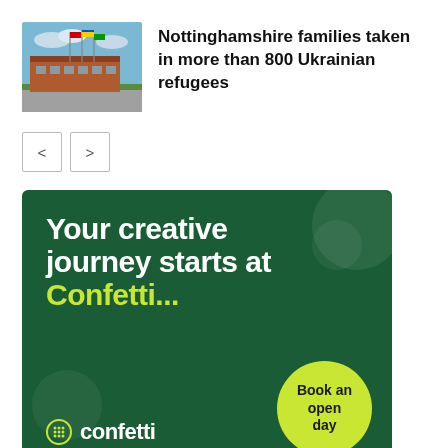[Figure (photo): Thumbnail photo of a building with flagpoles and flags, likely a school or civic building exterior.]
Nottinghamshire families taken in more than 800 Ukrainian refugees
[Figure (illustration): Navigation previous and next arrow buttons (< and >)]
[Figure (other): Advertisement banner for Confetti Institute of Creative Technologies. Dark green background with large white bold text: 'Your creative journey starts at' and yellow-green text: 'Confetti...' A yellow-green circle reads 'Book an open day'. Bottom left shows the Confetti logo with the text 'institute of creative technologies'.]